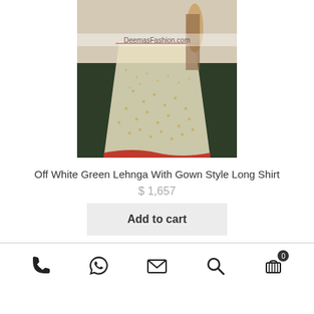[Figure (photo): An off white and green bridal lehenga with gown style long shirt, heavily embroidered, with red border trim. Watermark reads DeemasFashion.com]
Off White Green Lehnga With Gown Style Long Shirt
$ 1,657
Add to cart
Phone | WhatsApp | Email | Search | Cart (0)